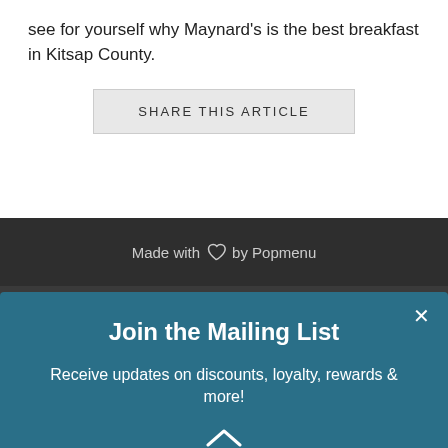see for yourself why Maynard's is the best breakfast in Kitsap County.
SHARE THIS ARTICLE
Made with ♡ by Popmenu
[Figure (illustration): Facebook and Instagram social media icons in white on dark gray background]
Join the Mailing List
Receive updates on discounts, loyalty, rewards & more!